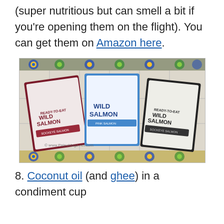(super nutritious but can smell a bit if you're opening them on the flight). You can get them on Amazon here.
[Figure (photo): Three packets of Ready-to-Eat Wild Salmon (different varieties) laid on a decorative tiled surface with colorful floral mosaic pattern. Watermark reads © www.PaleoMagz.net.com]
8. Coconut oil (and ghee) in a condiment cup